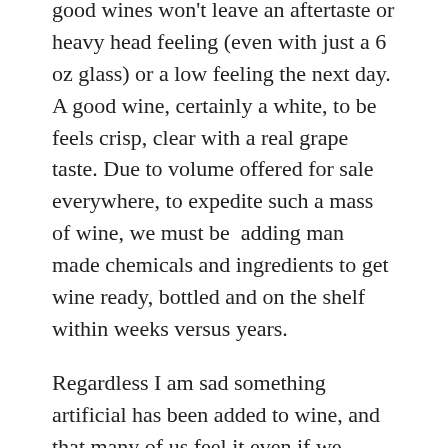good wines won't leave an aftertaste or heavy head feeling (even with just a 6 oz glass) or a low feeling the next day. A good wine, certainly a white, to be feels crisp, clear with a real grape taste. Due to volume offered for sale everywhere, to expedite such a mass of wine, we must be adding man made chemicals and ingredients to get wine ready, bottled and on the shelf within weeks versus years.
Regardless I am sad something artificial has been added to wine, and that many of us feel it even if we haven't pinpointed it. In wine culture we've moved from corks to screw caps to boxes. It can be mind boggling when we grew up to have a certain reverence and protocol for the treatment and care of wine, from the aging process to pouring. Or has wine just become more accessible and my taste buds are just off? Or